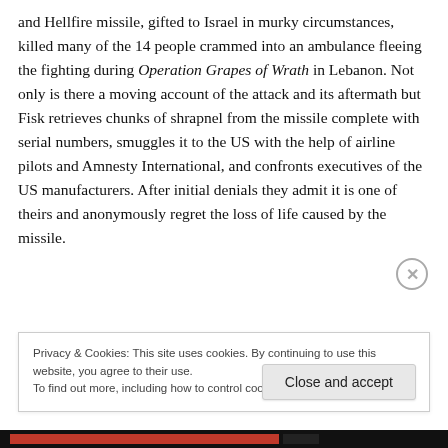and Hellfire missile, gifted to Israel in murky circumstances, killed many of the 14 people crammed into an ambulance fleeing the fighting during Operation Grapes of Wrath in Lebanon. Not only is there a moving account of the attack and its aftermath but Fisk retrieves chunks of shrapnel from the missile complete with serial numbers, smuggles it to the US with the help of airline pilots and Amnesty International, and confronts executives of the US manufacturers. After initial denials they admit it is one of theirs and anonymously regret the loss of life caused by the missile.
Privacy & Cookies: This site uses cookies. By continuing to use this website, you agree to their use. To find out more, including how to control cookies, see here: Cookie Policy
Close and accept